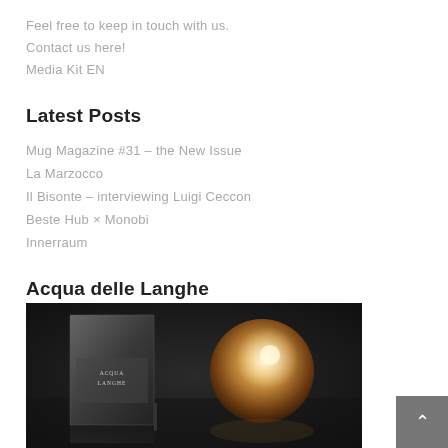Feel free to keep in touch with us.
Contact us here!
Media Kit EN
Latest Posts
Mug Magazine #31 – the New Issue
La Marzocco
Il Bisonte – interviewing Luigi Ceccon
Beste Hub × Monobi
Innerraum
Acqua delle Langhe
[Figure (photo): Dark moody product photo showing a box labeled 'Acqua Langhe' and a round golden candle or jar on a dark textured surface]